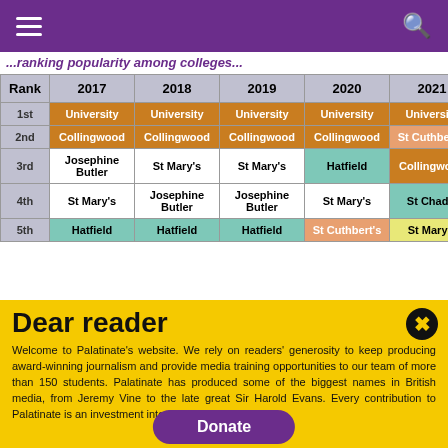Palatinate [hamburger menu] [search icon]
...ranking popularity among colleges...
| Rank | 2017 | 2018 | 2019 | 2020 | 2021 |
| --- | --- | --- | --- | --- | --- |
| 1st | University | University | University | University | University |
| 2nd | Collingwood | Collingwood | Collingwood | Collingwood | St Cuthbert's |
| 3rd | Josephine Butler | St Mary's | St Mary's | Hatfield | Collingwood |
| 4th | St Mary's | Josephine Butler | Josephine Butler | St Mary's | St Chad's |
| 5th | Hatfield | Hatfield | Hatfield | St Cuthbert's | St Mary's |
Dear reader
Welcome to Palatinate's website. We rely on readers' generosity to keep producing award-winning journalism and provide media training opportunities to our team of more than 150 students. Palatinate has produced some of the biggest names in British media, from Jeremy Vine to the late great Sir Harold Evans. Every contribution to Palatinate is an investment into the future of journalism.
Donate